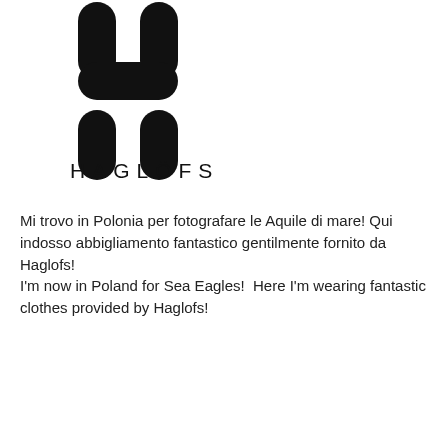[Figure (logo): Haglöfs brand logo: stylized H shape made of rounded rectangular pill shapes, with the word HAGLÖFS in spaced capitals below]
Mi trovo in Polonia per fotografare le Aquile di mare! Qui indosso abbigliamento fantastico gentilmente fornito da Haglofs!
I'm now in Poland for Sea Eagles!  Here I'm wearing fantastic clothes provided by Haglofs!